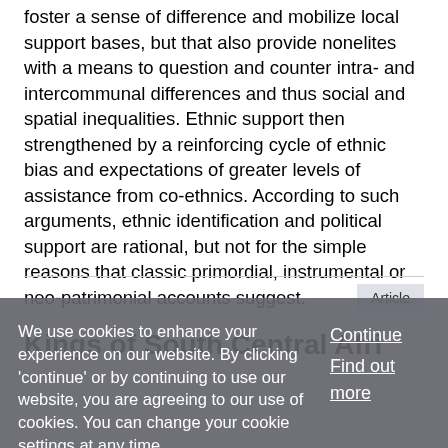foster a sense of difference and mobilize local support bases, but that also provide nonelites with a means to question and counter intra- and intercommunal differences and thus social and spatial inequalities. Ethnic support then strengthened by a reinforcing cycle of ethnic bias and expectations of greater levels of assistance from co-ethnics. According to such arguments, ethnic identification and political support are rational, but not for the simple reasons that classic primordial, instrumental or neo-patrimonial accounts suggest.
Article
Kings of South Central Afri...
We use cookies to enhance your experience on our website. By clicking 'continue' or by continuing to use our website, you are agreeing to our use of cookies. You can change your cookie settings at any time.
Continue
Find out more